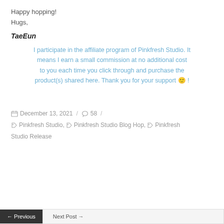Happy hopping!
Hugs,
TaeEun
I participate in the affiliate program of Pinkfresh Studio. It means I earn a small commission at no additional cost to you each time you click through and purchase the product(s) shared here. Thank you for your support 🙂 !
December 13, 2021 / 58 / Pinkfresh Studio, Pinkfresh Studio Blog Hop, Pinkfresh Studio Release